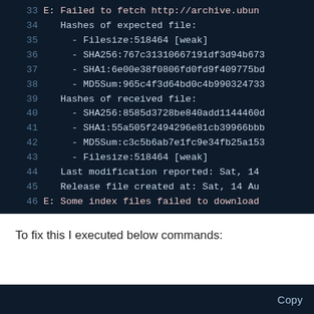[Figure (screenshot): Terminal/code block showing lines 33-46 of error output. Dark navy background with monospace text. Lines show: E: Failed to fetch http://archive.ubun..., Hashes of expected file:, Filesize:518464 [weak], SHA256:767c31310667191df3d94b673..., SHA1:6e00e38f0806fd0fd9f409775bd..., MD5Sum:965c4f3d64bd0c4b990324733..., Hashes of received file:, SHA256:8585d3728be840add1144460d..., SHA1:55a505f2494296e81cb39966bbb..., MD5Sum:c3c5b6ab7e1fc9e34fb25a153..., Filesize:518464 [weak], Last modification reported: Sat, 14..., Release file created at: Sat, 14 Au..., E: Some index files failed to download]
To fix this I executed below commands:
[Figure (screenshot): Bottom dark navy bar with 'Copy' button text visible at right]